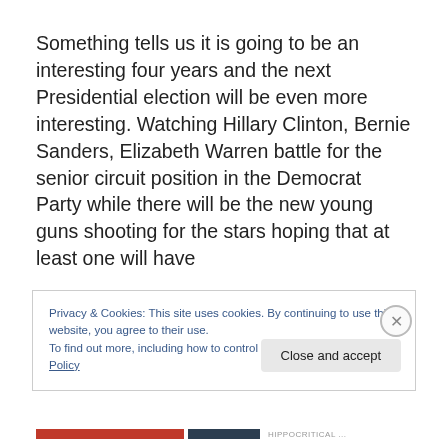Something tells us it is going to be an interesting four years and the next Presidential election will be even more interesting. Watching Hillary Clinton, Bernie Sanders, Elizabeth Warren battle for the senior circuit position in the Democrat Party while there will be the new young guns shooting for the stars hoping that at least one will have
Privacy & Cookies: This site uses cookies. By continuing to use this website, you agree to their use.
To find out more, including how to control cookies, see here: Cookie Policy
Close and accept